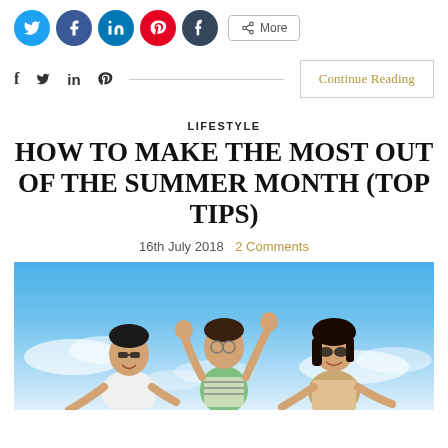[Figure (infographic): Row of social share icon circles: Twitter (blue), Facebook (blue), LinkedIn (blue), Pinterest (red), Tumblr (dark blue), and a More button]
[Figure (infographic): Secondary share row with text icons f, twitter bird, in, pinterest symbol, horizontal divider line, and Continue Reading button in gold text]
LIFESTYLE
HOW TO MAKE THE MOST OUT OF THE SUMMER MONTH (TOP TIPS)
16th July 2018   2 Comments
[Figure (photo): Three joyful young people jumping in the air against a bright blue sky with white clouds. A young man in sunglasses and white shirt on the left, a woman with arms raised in the middle wearing a striped top, and another woman on the right.]